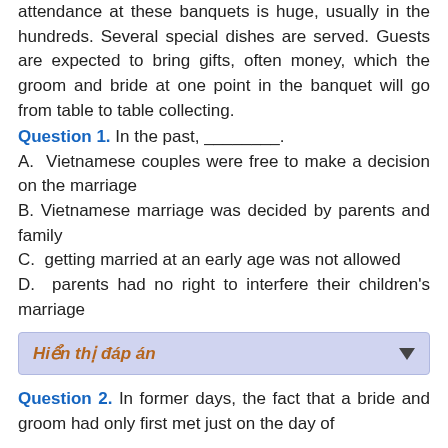attendance at these banquets is huge, usually in the hundreds. Several special dishes are served. Guests are expected to bring gifts, often money, which the groom and bride at one point in the banquet will go from table to table collecting.
Question 1. In the past, ________.
A. Vietnamese couples were free to make a decision on the marriage
B. Vietnamese marriage was decided by parents and family
C. getting married at an early age was not allowed
D. parents had no right to interfere their children's marriage
Hiển thị đáp án
Question 2. In former days, the fact that a bride and groom had only first met just on the day of